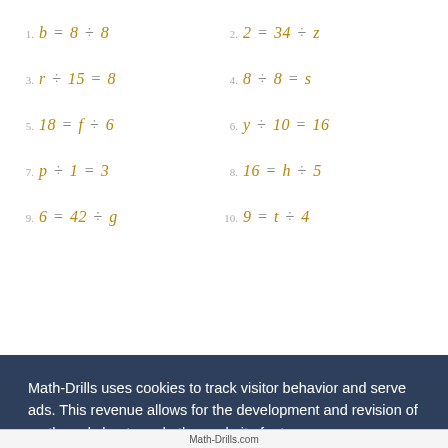Math-Drills uses cookies to track visitor behavior and serve ads. This revenue allows for the development and revision of math worksheets and other website features.
Privacy and Cookies Policy
Decline
Allow All Cookies
Math-Drills.com